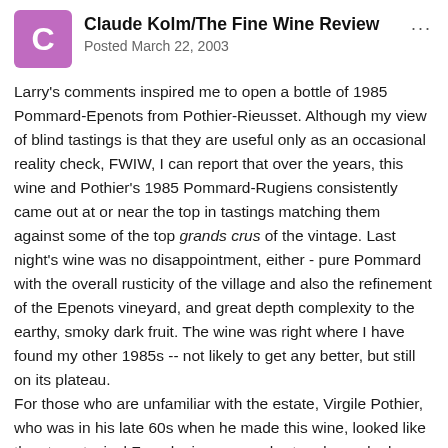Claude Kolm/The Fine Wine Review
Posted March 22, 2003
Larry's comments inspired me to open a bottle of 1985 Pommard-Epenots from Pothier-Rieusset. Although my view of blind tastings is that they are useful only as an occasional reality check, FWIW, I can report that over the years, this wine and Pothier's 1985 Pommard-Rugiens consistently came out at or near the top in tastings matching them against some of the top grands crus of the vintage. Last night's wine was no disappointment, either - pure Pommard with the overall rusticity of the village and also the refinement of the Epenots vineyard, and great depth complexity to the earthy, smoky dark fruit. The wine was right where I have found my other 1985s -- not likely to get any better, but still on its plateau.
For those who are unfamiliar with the estate, Virgile Pothier, who was in his late 60s when he made this wine, looked like the stereotypical French vigneron -- short and round, always with a beret on his head and a cigarette dangling from his lip. He made fantastic wines for the same reason that he could not sell them -- he simply was not a commercial type and did not change to meet current fashions.